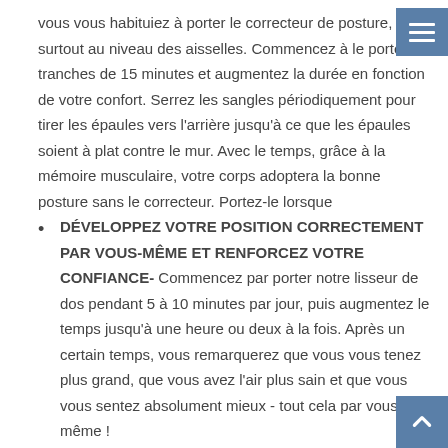vous vous habituiez à porter le correcteur de posture, surtout au niveau des aisselles. Commencez à le porter tranches de 15 minutes et augmentez la durée en fonction de votre confort. Serrez les sangles périodiquement pour tirer les épaules vers l'arrière jusqu'à ce que les épaules soient à plat contre le mur. Avec le temps, grâce à la mémoire musculaire, votre corps adoptera la bonne posture sans le correcteur. Portez-le lorsque
DÉVELOPPEZ VOTRE POSITION CORRECTEMENT PAR VOUS-MÊME ET RENFORCEZ VOTRE CONFIANCE- Commencez par porter notre lisseur de dos pendant 5 à 10 minutes par jour, puis augmentez le temps jusqu'à une heure ou deux à la fois. Après un certain temps, vous remarquerez que vous vous tenez plus grand, que vous avez l'air plus sain et que vous vous sentez absolument mieux - tout cela par vous-même !
CONCEPTION INNOVANTE- Notre conception exclusive créée orthopédiquement pour corriger votre posture de la